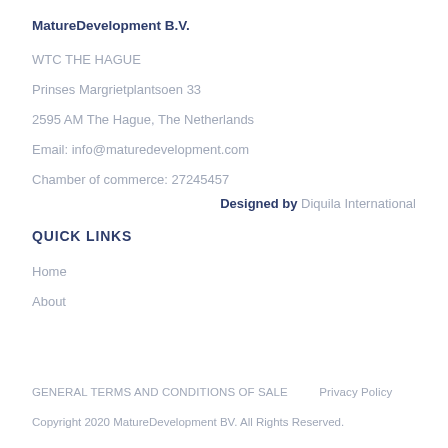MatureDevelopment B.V.
WTC THE HAGUE
Prinses Margrietplantsoen 33
2595 AM The Hague, The Netherlands
Email: info@maturedevelopment.com
Chamber of commerce: 27245457
Designed by Diquila International
QUICK LINKS
Home
About
GENERAL TERMS AND CONDITIONS OF SALE    Privacy Policy
Copyright 2020 MatureDevelopment BV. All Rights Reserved.